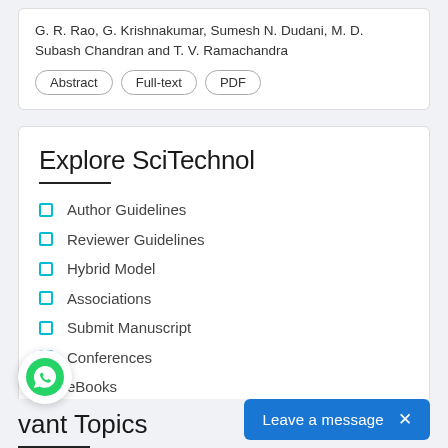G. R. Rao, G. Krishnakumar, Sumesh N. Dudani, M. D. Subash Chandran and T. V. Ramachandra
Abstract  Full-text  PDF
Explore SciTechnol
Author Guidelines
Reviewer Guidelines
Hybrid Model
Associations
Submit Manuscript
Conferences
eBooks
vant Topics
Leave a message  ×